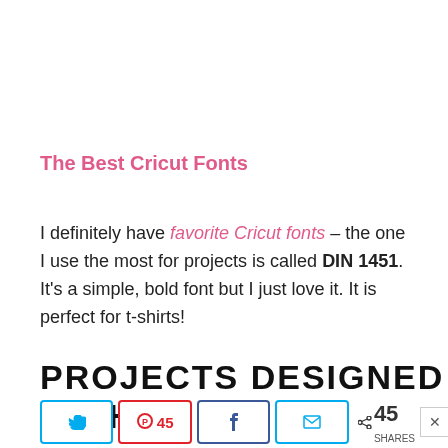The Best Cricut Fonts
I definitely have favorite Cricut fonts – the one I use the most for projects is called DIN 1451. It's a simple, bold font but I just love it. It is perfect for t-shirts!
PROJECTS DESIGNED WITH
[Figure (infographic): Social share bar with Twitter, Pinterest (45), Facebook, Email buttons and share count of 45 SHARES]